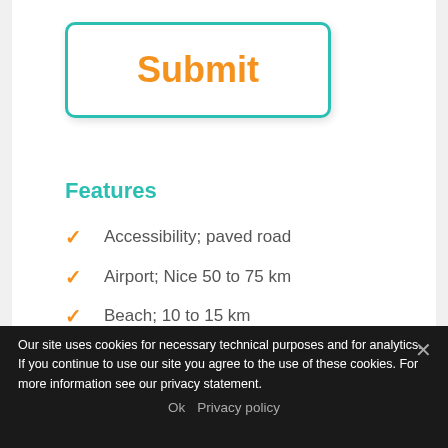[Figure (other): Submit button with teal border and orange bold text 'Submit']
Features
Accessibility; paved road
Airport; Nice 50 to 75 km
Beach; 10 to 15 km
(partially visible item)
Our site uses cookies for necessary technical purposes and for analytics. If you continue to use our site you agree to the use of these cookies. For more information see our privacy statement.
Ok  Privacy policy